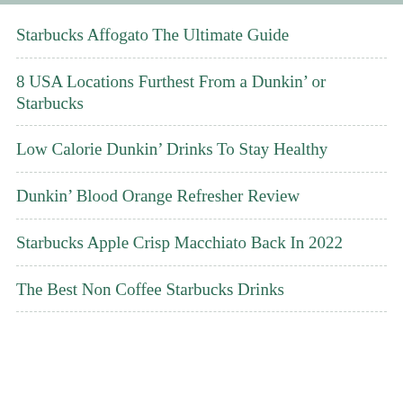Starbucks Affogato The Ultimate Guide
8 USA Locations Furthest From a Dunkin’ or Starbucks
Low Calorie Dunkin’ Drinks To Stay Healthy
Dunkin’ Blood Orange Refresher Review
Starbucks Apple Crisp Macchiato Back In 2022
The Best Non Coffee Starbucks Drinks